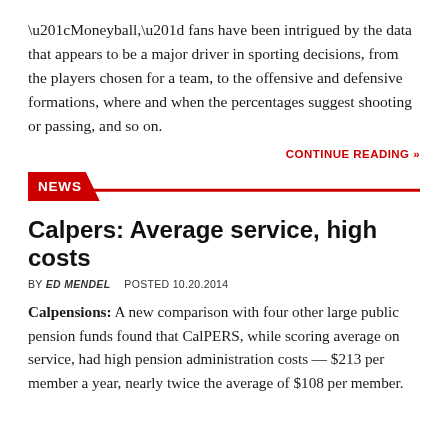“Moneyball,” fans have been intrigued by the data that appears to be a major driver in sporting decisions, from the players chosen for a team, to the offensive and defensive formations, where and when the percentages suggest shooting or passing, and so on.
CONTINUE READING »
NEWS
Calpers: Average service, high costs
BY ED MENDEL  POSTED 10.20.2014
Calpensions: A new comparison with four other large public pension funds found that CalPERS, while scoring average on service, had high pension administration costs — $213 per member a year, nearly twice the average of $108 per member.